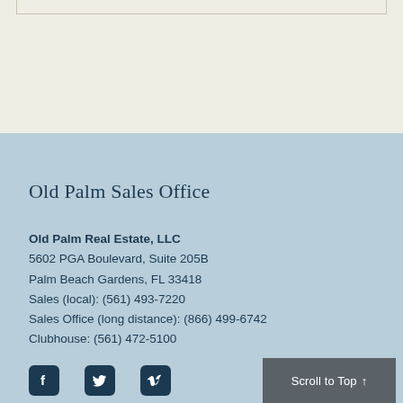[Figure (map): Partial map screenshot visible at the top of the page with a light beige background]
Old Palm Sales Office
Old Palm Real Estate, LLC
5602 PGA Boulevard, Suite 205B
Palm Beach Gardens, FL 33418
Sales (local): (561) 493-7220
Sales Office (long distance): (866) 499-6742
Clubhouse: (561) 472-5100
[Figure (other): Facebook, Twitter, and Vimeo social media icons in dark blue square rounded boxes]
Scroll to Top ↑